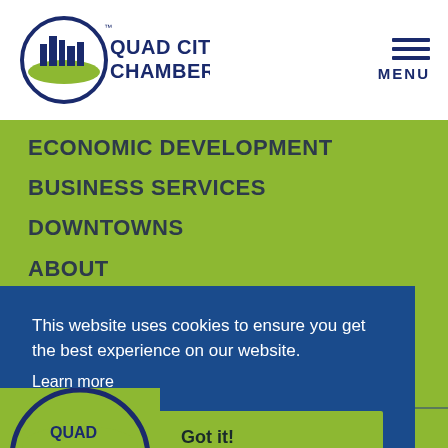Quad Cities Chamber
ECONOMIC DEVELOPMENT
BUSINESS SERVICES
DOWNTOWNS
ABOUT
TALENT
This website uses cookies to ensure you get the best experience on our website. Learn more
Got it!